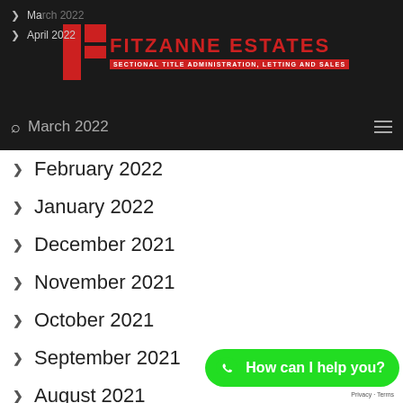Fitzanne Estates — Sectional Title Administration, Letting and Sales
March 2022
April 2022
March 2022
February 2022
January 2022
December 2021
November 2021
October 2021
September 2021
August 2021
July 2021
June 2021